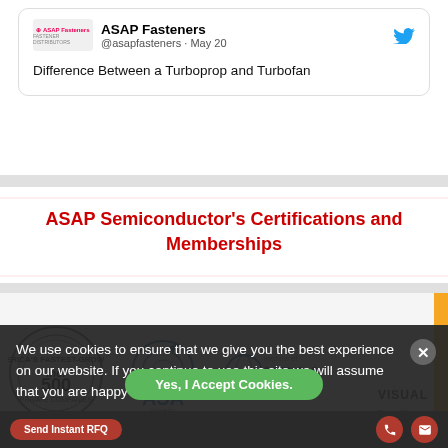[Figure (screenshot): Tweet card from ASAP Fasteners (@asapfasteners · May 20) showing text 'Difference Between a Turboprop and Turbofan' with Twitter bird icon]
ASAP Semiconductor's Certifications and Memberships
[Figure (logo): Logos: Inc 500 America's Fastest Growing Private Companies, ASA Member Aviation Suppliers Association, member of NBAA, Visual Compliance]
We use cookies to ensure that we give you the best experience on our website. If you continue to use this site we will assume that you are happy with it.
Yes, I Accept Cookies.
Send Instant RFQ